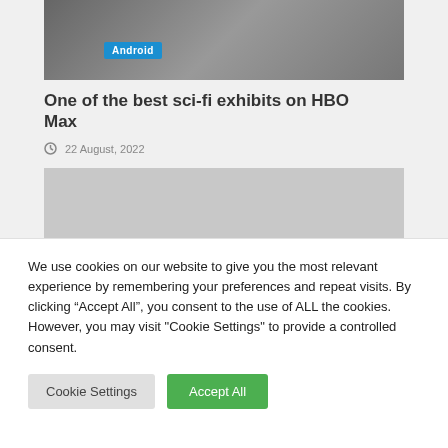[Figure (photo): Two people in dark clothing walking, with an 'Android' label badge overlaid in blue in the lower-left of the image]
One of the best sci-fi exhibits on HBO Max
22 August, 2022
[Figure (other): Gray placeholder rectangle (advertisement or image placeholder)]
We use cookies on our website to give you the most relevant experience by remembering your preferences and repeat visits. By clicking “Accept All”, you consent to the use of ALL the cookies. However, you may visit "Cookie Settings" to provide a controlled consent.
Cookie Settings
Accept All